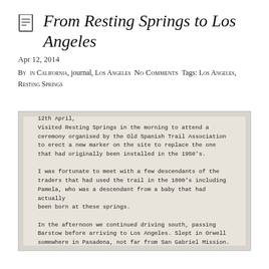From Resting Springs to Los Angeles
Apr 12, 2014
By  in California, journal, Los Angeles  No Comments  Tags: Los Angeles, Resting Springs
[Figure (photo): Photograph of a typewritten journal entry dated 12th April, describing a visit to Resting Springs for a ceremony by the Old Spanish Trail Association, meeting descendants of traders, and continuing driving south through Barstow to Los Angeles, staying in Orwell somewhere in Pasadena near San Gabriel Mission.]